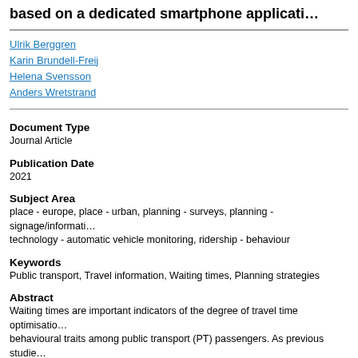based on a dedicated smartphone application
Ulrik Berggren
Karin Brundell-Freij
Helena Svensson
Anders Wretstrand
Document Type
Journal Article
Publication Date
2021
Subject Area
place - europe, place - urban, planning - surveys, planning - signage/information technology - automatic vehicle monitoring, ridership - behaviour
Keywords
Public transport, Travel information, Waiting times, Planning strategies
Abstract
Waiting times are important indicators of the degree of travel time optimisation behavioural traits among public transport (PT) passengers. As previous studies shown, the level and usage of pre-trip information regarding schedule or real-t departures are important factors that influence the potential to realise travel ti